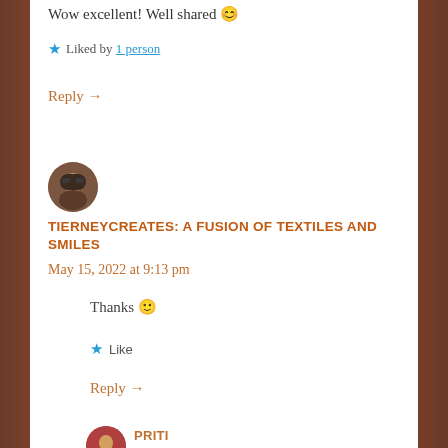Wow excellent! Well shared 😊
★ Liked by 1 person
Reply →
[Figure (photo): Round avatar photo of a person wearing glasses and a headscarf]
TIERNEYCREATES: A FUSION OF TEXTILES AND SMILES
May 15, 2022 at 9:13 pm
Thanks 🙂
★ Like
Reply →
[Figure (photo): Round avatar photo of a person (Priti)]
PRITI